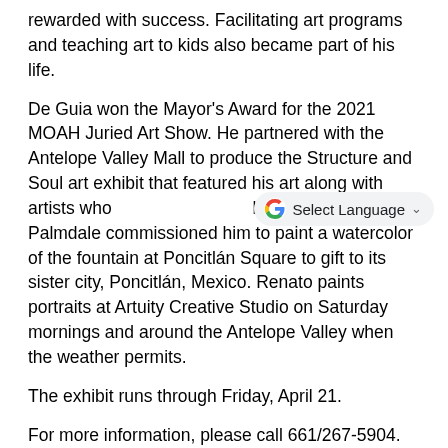rewarded with success. Facilitating art programs and teaching art to kids also became part of his life.
De Guia won the Mayor's Award for the 2021 MOAH Juried Art Show. He partnered with the Antelope Valley Mall to produce the Structure and Soul art exhibit that featured his art along with artists who [Select Language] him. The City of Palmdale commissioned him to paint a watercolor of the fountain at Poncitlán Square to gift to its sister city, Poncitlán, Mexico. Renato paints portraits at Artuity Creative Studio on Saturday mornings and around the Antelope Valley when the weather permits.
The exhibit runs through Friday, April 21.
For more information, please call 661/267-5904.
About Legacy Commons
Legacy Commons provides adults age 55+ the opportunity to remain young-at-heart with a wide range of drop-in activities in a modern, contemporary center.  Experience